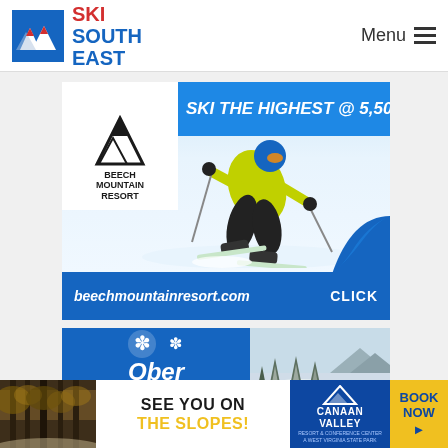SKI SOUTH EAST — Menu
[Figure (advertisement): Beech Mountain Resort advertisement: SKI THE HIGHEST @ 5,506' with skier photo, beechmountainresort.com CLICK]
[Figure (advertisement): Ober Gatlinburg resort advertisement with logo and snowy landscape photo]
[Figure (advertisement): Bottom banner: SEE YOU ON THE SLOPES! Canaan Valley Resort & Conference Center BOOK NOW]